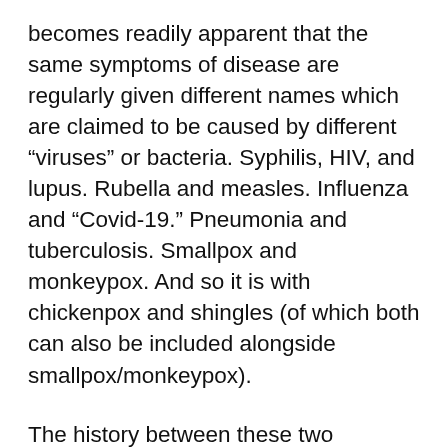becomes readily apparent that the same symptoms of disease are regularly given different names which are claimed to be caused by different “viruses” or bacteria. Syphilis, HIV, and lupus. Rubella and measles. Influenza and “Covid-19.” Pneumonia and tuberculosis. Smallpox and monkeypox. And so it is with chickenpox and shingles (of which both can also be included alongside smallpox/monkeypox).
The history between these two diseases is a long and complicated one. Many, if not all of the symptoms, overlap with each other. They